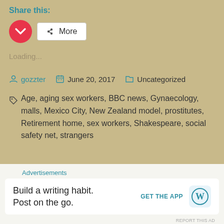Share this:
[Figure (other): Share buttons: Pocket (red circle with pocket icon) and More button with share icon]
Loading...
gozzter   June 20, 2017   Uncategorized
Age, aging sex workers, BBC news, Gynaecology, malls, Mexico City, New Zealand model, prostitutes, Retirement home, sex workers, Shakespeare, social safety net, strangers
Advertisements
Build a writing habit. Post on the go.
GET THE APP